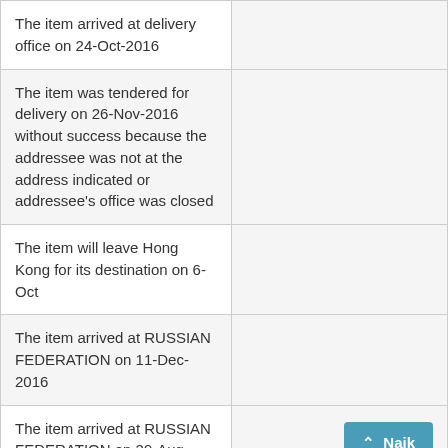| The item arrived at delivery office on 24-Oct-2016 |  |
| The item was tendered for delivery on 26-Nov-2016 without success because the addressee was not at the address indicated or addressee's office was closed |  |
| The item will leave Hong Kong for its destination on 6-Oct |  |
| The item arrived at RUSSIAN FEDERATION on 11-Dec-2016 |  |
| The item arrived at RUSSIAN FEDERATION on 29-Aug | Naik button |